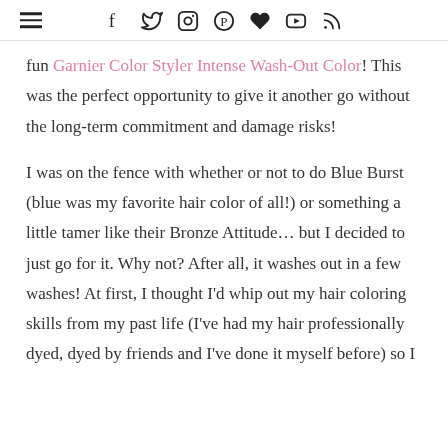[hamburger menu] [social icons: facebook, twitter, instagram, pinterest, heart, youtube, rss]
fun Garnier Color Styler Intense Wash-Out Color! This was the perfect opportunity to give it another go without the long-term commitment and damage risks!
I was on the fence with whether or not to do Blue Burst (blue was my favorite hair color of all!) or something a little tamer like their Bronze Attitude... but I decided to just go for it. Why not? After all, it washes out in a few washes! At first, I thought I’d whip out my hair coloring skills from my past life (I’ve had my hair professionally dyed, dyed by friends and I’ve done it myself before) so I